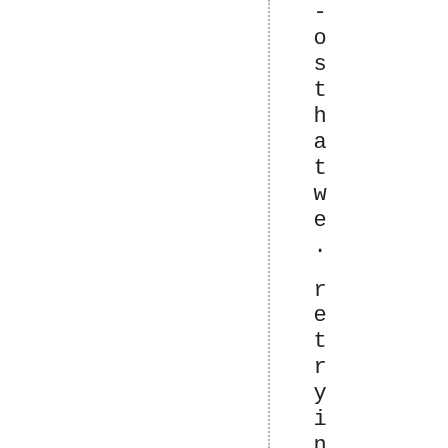- osthat we. retryingtoimprovebymo